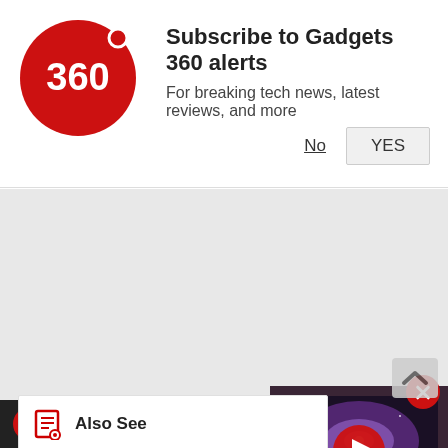[Figure (logo): Gadgets 360 red circle logo with '360' text]
Subscribe to Gadgets 360 alerts
For breaking tech news, latest reviews, and more
No
YES
[Figure (screenshot): Gray advertisement area]
[Figure (photo): Video thumbnail showing a TV with purple galaxy wallpaper and a red play button overlay]
Also See
Google Will Allow Users to Make Vo... Directly From Gmail
[Figure (logo): Gadgets 360 logo in bottom bar]
Gmail Tips & Tricks: How to Chat, Make